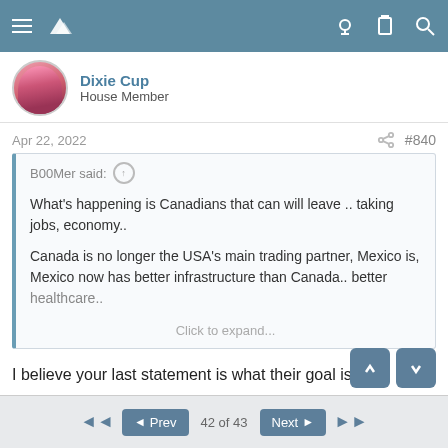Dixie Cup — House Member
Apr 22, 2022  #840
B00Mer said: ↑
What's happening is Canadians that can will leave .. taking jobs, economy..

Canada is no longer the USA's main trading partner, Mexico is, Mexico now has better infrastructure than Canada.. better healthcare..

Click to expand...
I believe your last statement is what their goal is.
taxme
◄◄  ◄ Prev   42 of 43   Next ►  ►►